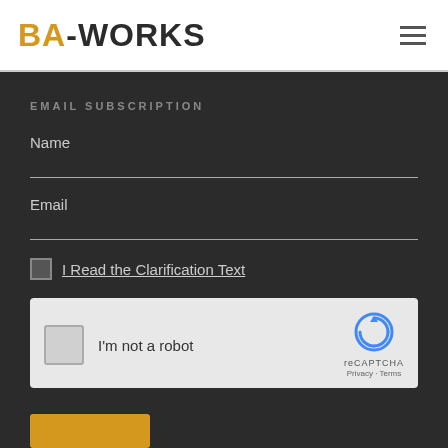BA-WORKS
EMAIL SUBSCRIPTION
Name
Email
I Read the Clarification Text
[Figure (screenshot): reCAPTCHA widget with checkbox and logo, text: I'm not a robot, reCAPTCHA, Privacy - Terms]